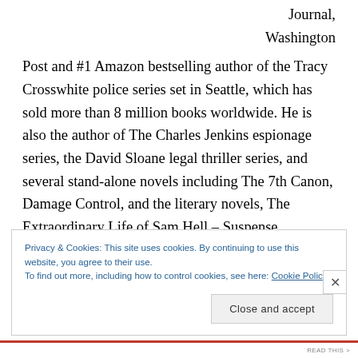Journal, Washington Post and #1 Amazon bestselling author of the Tracy Crosswhite police series set in Seattle, which has sold more than 8 million books worldwide. He is also the author of The Charles Jenkins espionage series, the David Sloane legal thriller series, and several stand-alone novels including The 7th Canon, Damage Control, and the literary novels, The Extraordinary Life of Sam Hell – Suspense Magazine's 2018 Book of the Year, for which Dugoni's narration won an
Privacy & Cookies: This site uses cookies. By continuing to use this website, you agree to their use.
To find out more, including how to control cookies, see here: Cookie Policy
Close and accept